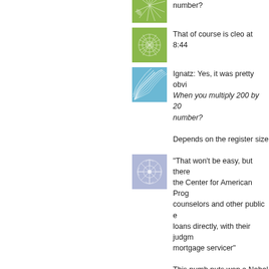[Figure (illustration): Green avatar with branch/leaf pattern (partially visible at top)]
number?
[Figure (illustration): Green avatar with star/sunburst pattern]
That of course is cleo at 8:44
[Figure (illustration): Blue avatar with wave/fan pattern]
Ignatz: Yes, it was pretty obvi
When you multiply 200 by 20
number?
Depends on the register size
[Figure (illustration): Purple/lavender avatar with star/snowflake pattern]
"That won't be easy, but there the Center for American Prog counselors and other public e loans directly, with their judgm mortgage servicer"
This numb nuts won a Nobel smarter than that.